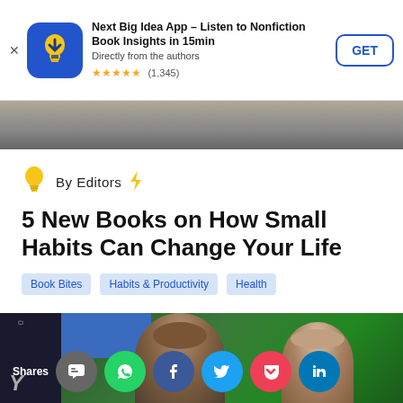[Figure (screenshot): App advertisement banner for 'Next Big Idea App' with blue lightbulb icon, star rating of (1,345), and GET button]
By Editors
5 New Books on How Small Habits Can Change Your Life
Book Bites
Habits & Productivity
Health
“Rome wasn’t built in a day.”
[Figure (photo): Bottom image showing social sharing icons (SMS, WhatsApp, Facebook, Twitter, Pocket, LinkedIn) and partial book cover with two people's faces against blue/green background]